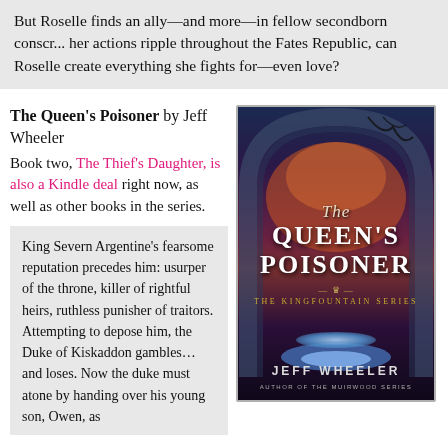But Roselle finds an ally—and more—in fellow secondborn conscr... her actions ripple throughout the Fates Republic, can Roselle create everything she fights for—even love?
The Queen's Poisoner by Jeff Wheeler
Book two, The Thief's Daughter, is also a Kindle deal right now, as well as other books in the series.
[Figure (illustration): Book cover of The Queen's Poisoner by Jeff Wheeler — The Kingfountain Series. Dark fantasy cover with gothic arch, red-orange sky, dark trees, glowing magical light at the bottom, text in white and gold.]
King Severn Argentine's fearsome reputation precedes him: usurper of the throne, killer of rightful heirs, ruthless punisher of traitors. Attempting to depose him, the Duke of Kiskaddon gambles…and loses. Now the duke must atone by handing over his young son, Owen, as